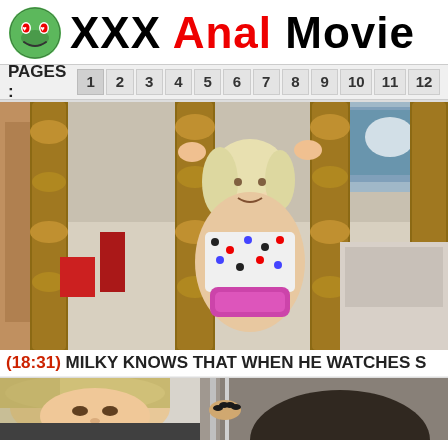XXX Anal Movie
PAGES: 1 2 3 4 5 6 7 8 9 10 11 12
[Figure (photo): Photo of a blonde woman holding onto wooden bed posts, wearing a patterned top and pink underwear, in a room with a TV in the background]
(18:31) MILKY KNOWS THAT WHEN HE WATCHES S
[Figure (photo): Photo of a blonde woman and a dark-haired person, partially visible, close-up shot]